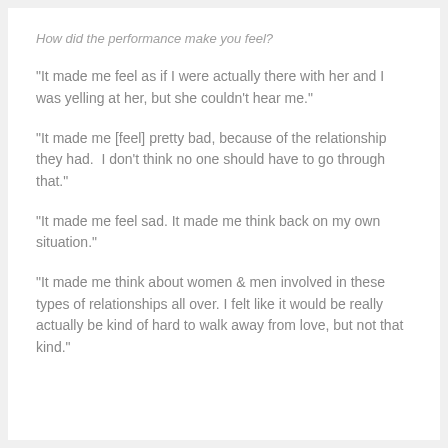How did the performance make you feel?
“It made me feel as if I were actually there with her and I was yelling at her, but she couldn’t hear me.”
“It made me [feel] pretty bad, because of the relationship they had.  I don’t think no one should have to go through that.”
“It made me feel sad. It made me think back on my own situation.”
“It made me think about women & men involved in these types of relationships all over. I felt like it would be really actually be kind of hard to walk away from love, but not that kind.”